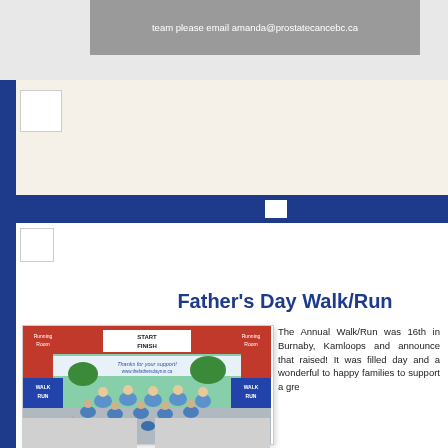team please email amanda@prostatecancebc.ca
Father's Day Walk/Run
[Figure (photo): Runners passing under a red Running Room START/FINISH arch at the Father's Day Walk/Run event, with participants in light blue shirts and a banner reading 'Thanks for your support!']
The Annual Walk/Run was 16th in Burnaby, Kamloops and announce that raised! It was filled day and a wonderful to happy families to support a gre